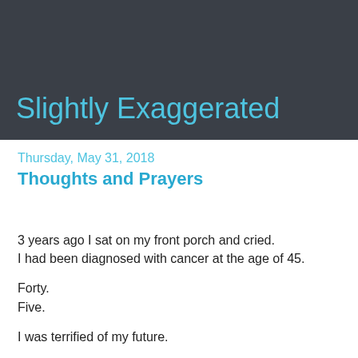Slightly Exaggerated
Thursday, May 31, 2018
Thoughts and Prayers
3 years ago I sat on my front porch and cried.
I had been diagnosed with cancer at the age of 45.
Forty.
Five.
I was terrified of my future.